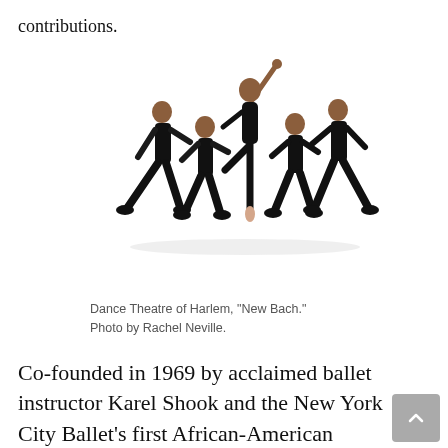contributions.
[Figure (photo): Five ballet dancers dressed in black performing on a white background. A female dancer is centered en pointe with one leg raised and one arm extended upward, surrounded by four male dancers in dynamic lunging poses.]
Dance Theatre of Harlem, “New Bach.” Photo by Rachel Neville.
Co-founded in 1969 by acclaimed ballet instructor Karel Shook and the New York City Ballet’s first African-American principal dancer Arthur Mitchell, Dance Theatre of Harlem became the first ballet